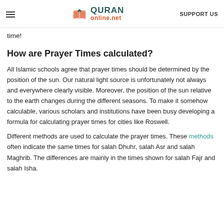QURAN online.net | SUPPORT US
time!
How are Prayer Times calculated?
All Islamic schools agree that prayer times should be determined by the position of the sun. Our natural light source is unfortunately not always and everywhere clearly visible. Moreover, the position of the sun relative to the earth changes during the different seasons. To make it somehow calculable, various scholars and institutions have been busy developing a formula for calculating prayer times for cities like Roswell.
Different methods are used to calculate the prayer times. These methods often indicate the same times for salah Dhuhr, salah Asr and salah Maghrib. The differences are mainly in the times shown for salah Fajr and salah Isha.